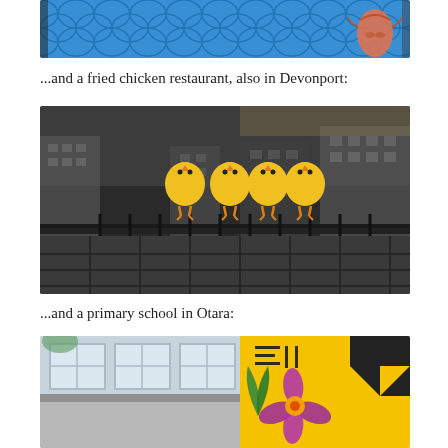[Figure (photo): Partial view of a colorful mural with blue wave patterns and a shrimp/prawn design on blue background, cropped at top of page]
...and a fried chicken restaurant, also in Devonport:
[Figure (photo): Interior mural of a fried chicken restaurant showing a black-and-white cityscape with four cartoon yellow chick characters standing on a rooftop railing]
...and a primary school in Otara:
[Figure (photo): Exterior of a primary school in Otara showing colorful murals including a hibiscus flower, geometric Polynesian patterns in yellow and black, and windows of the building]